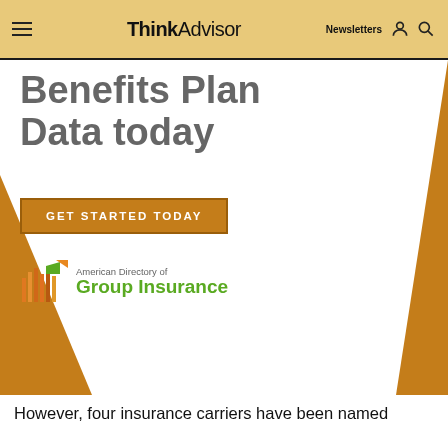ThinkAdvisor | Newsletters
[Figure (infographic): American Directory of Group Insurance promotional ad with title 'Benefits Plan Data today', a golden CTA button 'GET STARTED TODAY', decorative gold triangles, and the American Directory of Group Insurance logo]
However, four insurance carriers have been named